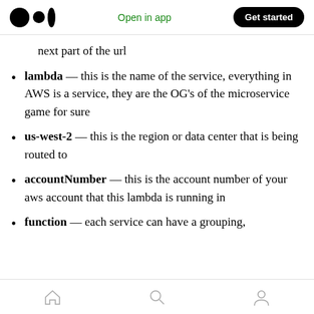Open in app | Get started
next part of the url
lambda — this is the name of the service, everything in AWS is a service, they are the OG's of the microservice game for sure
us-west-2 — this is the region or data center that is being routed to
accountNumber — this is the account number of your aws account that this lambda is running in
function — each service can have a grouping,
Home | Search | Profile